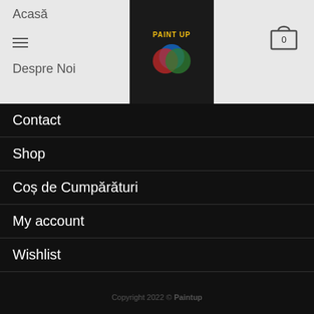Acasă | Despre Noi | Paint Up logo | Cart 0
Contact
Shop
Coș de Cumpărături
My account
Wishlist
Termeni și condiții
Politica de Confidentialitate
ANPC
Copyright 2022 © Paintup